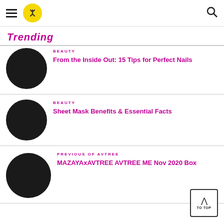Trending
BEAUTY | From the Inside Out: 15 Tips for Perfect Nails
BEAUTY | Sheet Mask Benefits & Essential Facts
PREVIOUS OF AVTREE | MAZAYAxAVTREE AVTREE ME Nov 2020 Box